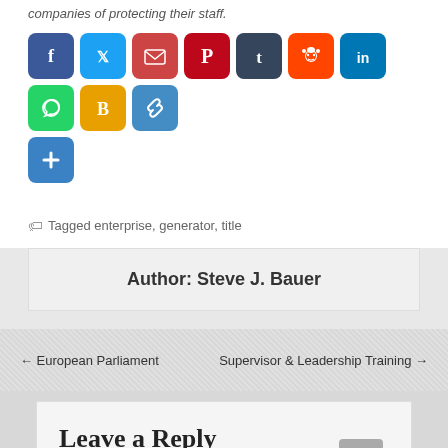companies of protecting their staff.
[Figure (infographic): Social media sharing buttons: Facebook, Twitter, Email, Pinterest, Tumblr, Reddit, LinkedIn, WhatsApp, Blogger, Copy Link, More (+)]
Tagged enterprise, generator, title
Author: Steve J. Bauer
← European Parliament
Supervisor & Leadership Training →
Leave a Reply
You must be logged in to post a comment.